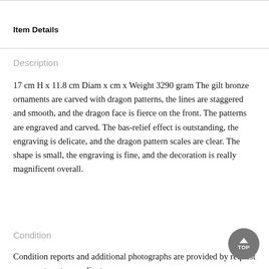Item Details
Description
17 cm H x 11.8 cm Diam x cm x Weight 3290 gram The gilt bronze ornaments are carved with dragon patterns, the lines are staggered and smooth, and the dragon face is fierce on the front. The patterns are engraved and carved. The bas-relief effect is outstanding, the engraving is delicate, and the dragon pattern scales are clear. The shape is small, the engraving is fine, and the decoration is really magnificent overall.
Condition
Condition reports and additional photographs are provided by request as a courtesy to our clients, an